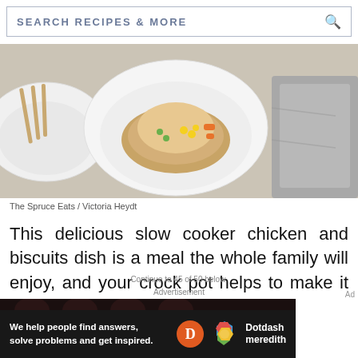SEARCH RECIPES & MORE
[Figure (photo): Overhead shot of white bowls with slow cooker chicken and biscuits topped with colorful vegetables (corn, carrots, peas), wooden fork on left, grey cloth napkin on right, grey surface background.]
The Spruce Eats / Victoria Heydt
This delicious slow cooker chicken and biscuits dish is a meal the whole family will enjoy, and your crock pot helps to make it quick and easy to prepare.
Continue to 45 of 50 below.
Advertisement
[Figure (screenshot): Dark advertisement banner: 'We help people find answers, solve problems and get inspired.' with Dotdash Meredith logo.]